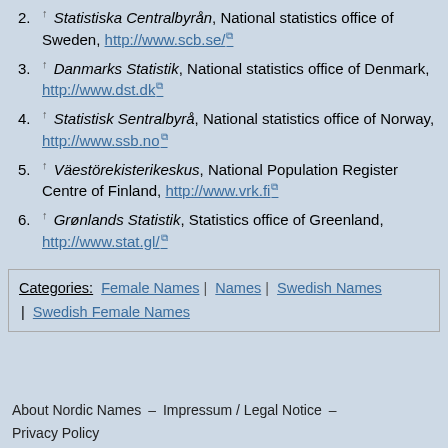2. ↑ Statistiska Centralbyrån, National statistics office of Sweden, http://www.scb.se/
3. ↑ Danmarks Statistik, National statistics office of Denmark, http://www.dst.dk
4. ↑ Statistisk Sentralbyrå, National statistics office of Norway, http://www.ssb.no
5. ↑ Väestörekisterikeskus, National Population Register Centre of Finland, http://www.vrk.fi
6. ↑ Grønlands Statistik, Statistics office of Greenland, http://www.stat.gl/
Categories: Female Names | Names | Swedish Names | Swedish Female Names
About Nordic Names – Impressum / Legal Notice – Privacy Policy